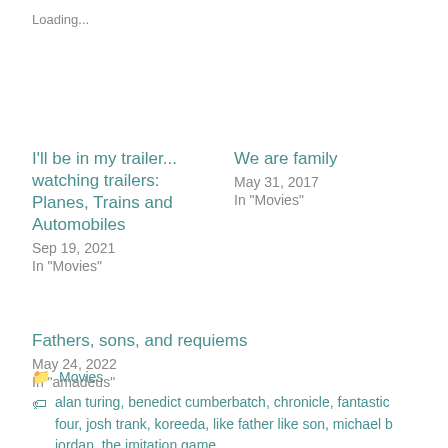Loading...
I'll be in my trailer... watching trailers: Planes, Trains and Automobiles
Sep 19, 2021
In "Movies"
We are family
May 31, 2017
In "Movies"
Fathers, sons, and requiems
May 24, 2022
In "amadeus"
Movies
alan turing, benedict cumberbatch, chronicle, fantastic four, josh trank, koreeda, like father like son, michael b jordan, the imitation game